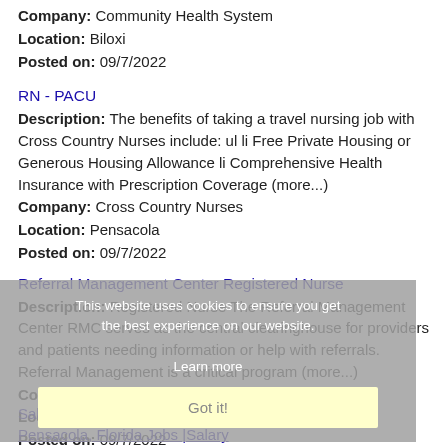Company: Community Health System
Location: Biloxi
Posted on: 09/7/2022
RN - PACU
Description: The benefits of taking a travel nursing job with Cross Country Nurses include: ul li Free Private Housing or Generous Housing Allowance li Comprehensive Health Insurance with Prescription Coverage (more...)
Company: Cross Country Nurses
Location: Pensacola
Posted on: 09/7/2022
Referral Management Center Registered Nurse
Description: Registered Nurse The Referral Management Center RMC serves as the central clearinghouse for providers and patients needing information or help with referrals. Referral Management is a critical program (more...)
Company: Reef Systems
Location: Biloxi
Posted on: 09/7/2022
Salary in Pensacola, Florida Area | More details for Pensacola, Florida Jobs |Salary